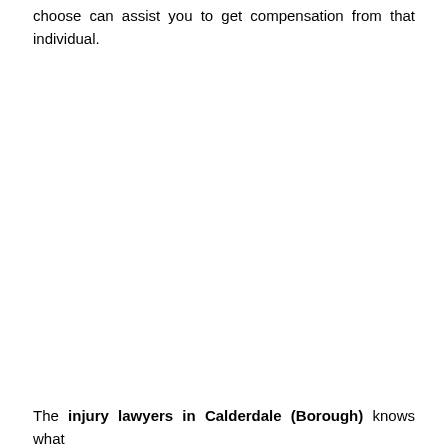choose can assist you to get compensation from that individual.
The injury lawyers in Calderdale (Borough) knows what